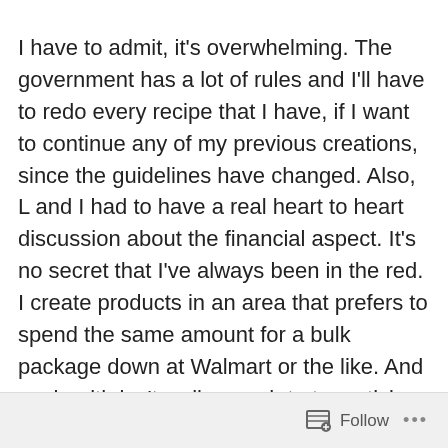I have to admit, it's overwhelming. The government has a lot of rules and I'll have to redo every recipe that I have, if I want to continue any of my previous creations, since the guidelines have changed. Also, L and I had to have a real heart to heart discussion about the financial aspect. It's no secret that I've always been in the red. I create products in an area that prefers to spend the same amount for a bulk package down at Walmart or the like. And my health isn't well enough to try enticing customers at the Farmer's Market when it's in season. Not to mention that my time off meant that most of my ingredients expired, so I would need to replace anything I really wanted to focus on at the beginning. My therapist has been encouraging this for a while and after a lot of deliberation, we decided to invest in starting my crafting back up.
Follow ...